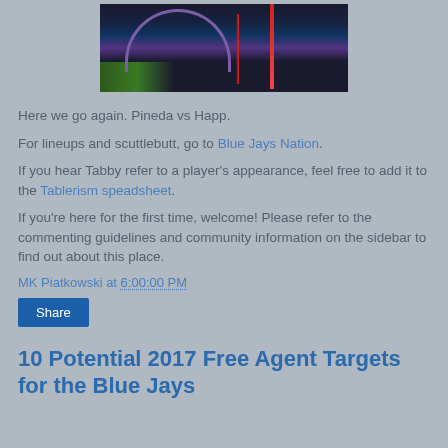[Figure (photo): Nighttime cityscape showing the Rogers Centre dome and CN Tower lit up in Toronto]
Here we go again. Pineda vs Happ.
For lineups and scuttlebutt, go to Blue Jays Nation.
If you hear Tabby refer to a player's appearance, feel free to add it to the Tablerism speadsheet.
If you're here for the first time, welcome! Please refer to the commenting guidelines and community information on the sidebar to find out about this place.
MK Piatkowski at 6:00:00 PM
Share
10 Potential 2017 Free Agent Targets for the Blue Jays